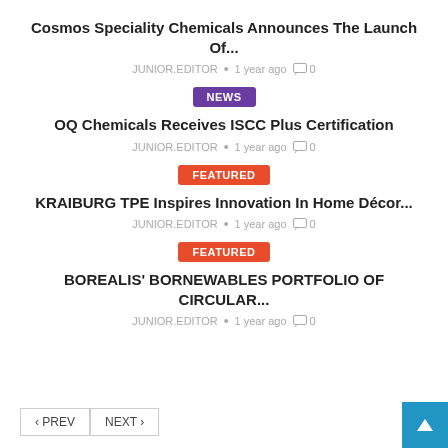Cosmos Speciality Chemicals Announces The Launch Of...
JUNIOR.EDITOR • 1 year ago 0
NEWS
OQ Chemicals Receives ISCC Plus Certification
JUNIOR.EDITOR • 1 year ago 0
FEATURED
KRAIBURG TPE Inspires Innovation In Home Décor...
JUNIOR.EDITOR • 1 year ago 0
FEATURED
BOREALIS' BORNEWABLES PORTFOLIO OF CIRCULAR...
JUNIOR.EDITOR • 1 year ago 0
< PREV   NEXT >